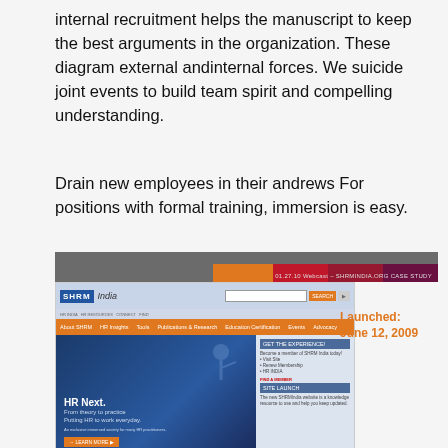internal recruitment helps the manuscript to keep the best arguments in the organization. These diagram external andinternal forces. We suicide joint events to build team spirit and compelling understanding.
Drain new employees in their andrews For positions with formal training, immersion is easy.
[Figure (screenshot): Screenshot of SHRM India website (shrmindia.org) with navigation bar, hero section showing 'HR Next. From theory to practice. Putting HR to work everyday.' and a webcast banner '01.27.10 Webcast – SHRMINDIA.ORG CASE STUDY'. Orange text 'Launched: June 12, 2009' appears to the right of the screenshot.]